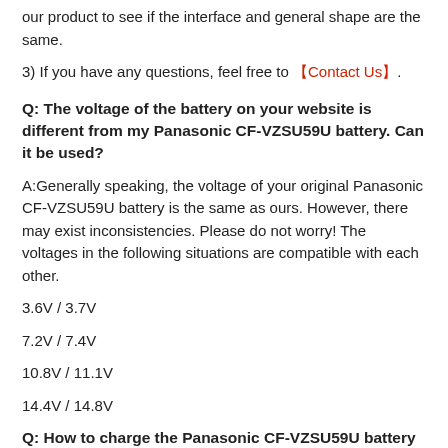our product to see if the interface and general shape are the same.
3) If you have any questions, feel free to 【Contact Us】.
Q: The voltage of the battery on your website is different from my Panasonic CF-VZSU59U battery. Can it be used?
A:Generally speaking, the voltage of your original Panasonic CF-VZSU59U battery is the same as ours. However, there may exist inconsistencies. Please do not worry! The voltages in the following situations are compatible with each other.
3.6V / 3.7V
7.2V / 7.4V
10.8V / 11.1V
14.4V / 14.8V
Q: How to charge the Panasonic CF-VZSU59U battery properly?
A: You should charge the replacement battery for Panasonic CF-VZSU59U before the battery exhaustively discharged, otherwise it